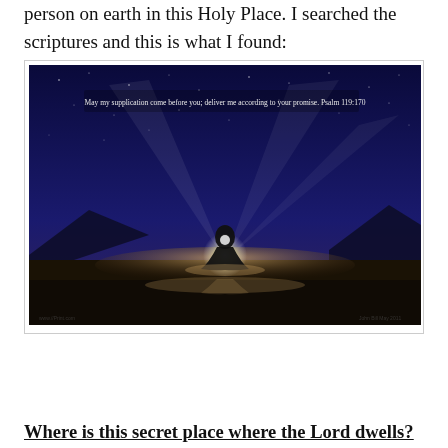person on earth in this Holy Place. I searched the scriptures and this is what I found:
[Figure (illustration): A person kneeling in prayer on a reflective surface under a dark blue night sky with stars. Light rays emanate from behind the figure. Text at top reads: 'May my supplication come before you; deliver me according to your promise. Psalm 119:170']
Where is this secret place where the Lord dwells?